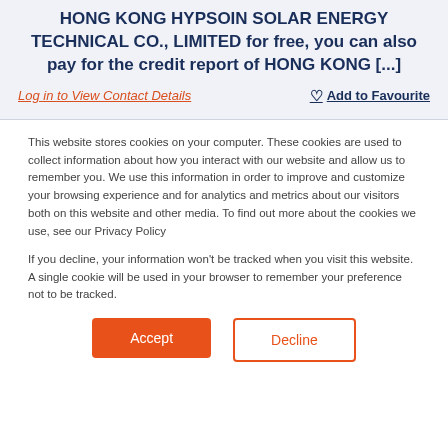HONG KONG HYPSOIN SOLAR ENERGY TECHNICAL CO., LIMITED for free, you can also pay for the credit report of HONG KONG [...]
Log in to View Contact Details
Add to Favourite
This website stores cookies on your computer. These cookies are used to collect information about how you interact with our website and allow us to remember you. We use this information in order to improve and customize your browsing experience and for analytics and metrics about our visitors both on this website and other media. To find out more about the cookies we use, see our Privacy Policy
If you decline, your information won't be tracked when you visit this website. A single cookie will be used in your browser to remember your preference not to be tracked.
Accept
Decline